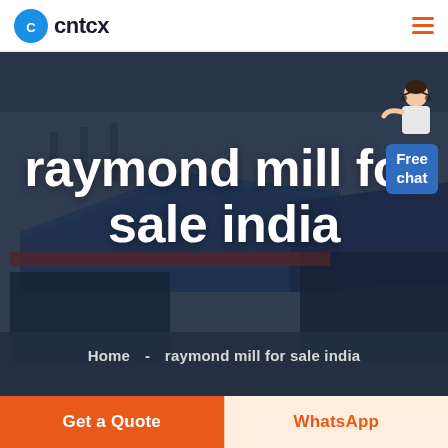cntcx [logo] [hamburger menu]
[Figure (photo): Aerial view of a large industrial facility with blue-roofed warehouse buildings, darkened with overlay, used as hero background image]
raymond mill for sale india
Home  -  raymond mill for sale india
[Figure (illustration): Customer service representative figure with 'Free chat' blue button overlay in top right of hero section]
Get a Quote
WhatsApp